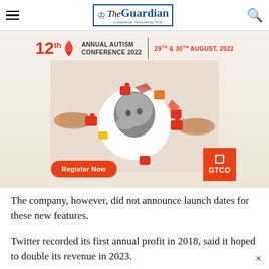The Guardian — Conscience, Nurtured by Truth
[Figure (illustration): 12th Annual Autism Conference 2022 advertisement banner featuring a child peering through a puzzle-piece shaped hole, with hands placing puzzle pieces on either side. Text reads: 12th Annual Autism Conference 2022, 29th & 30th August, 2022. Register Now button and GTCO sponsor logo visible.]
The company, however, did not announce launch dates for these new features.
Twitter recorded its first annual profit in 2018, said it hoped to double its revenue in 2023.